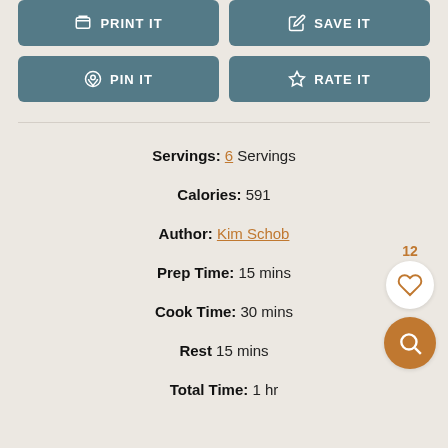[Figure (other): Two UI buttons: PRINT IT and SAVE IT on a teal/dark-blue background]
[Figure (other): Two UI buttons: PIN IT and RATE IT on a teal/dark-blue background]
Servings: 6 Servings
Calories: 591
Author: Kim Schob
Prep Time: 15 mins
Cook Time: 30 mins
Rest 15 mins
Total Time: 1 hr